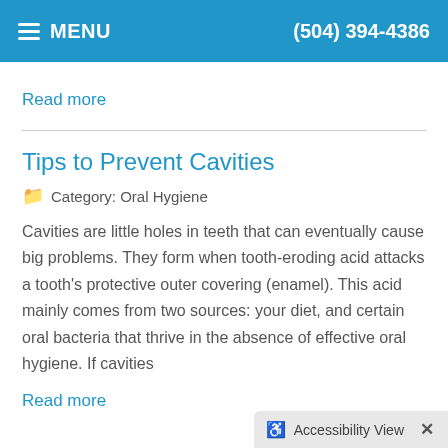MENU   (504) 394-4386
Read more
Tips to Prevent Cavities
Category: Oral Hygiene
Cavities are little holes in teeth that can eventually cause big problems. They form when tooth-eroding acid attacks a tooth's protective outer covering (enamel). This acid mainly comes from two sources: your diet, and certain oral bacteria that thrive in the absence of effective oral hygiene. If cavities
Read more
Accessibility View